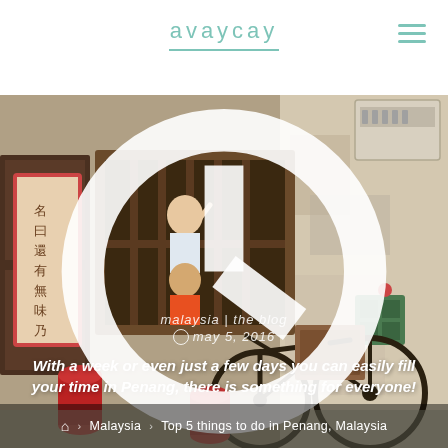avaycay
[Figure (photo): Street art photo in Penang, Malaysia showing children looking out of a window mural on a weathered white wall, with an old bicycle parked outside. Chinese calligraphy on a red sign on the left. Air conditioning unit top right.]
malaysia | the blog
may 5, 2016
With a week or even just a few days you can easily fill your time in Penang, there is something for everyone!
🏠 › Malaysia › Top 5 things to do in Penang, Malaysia